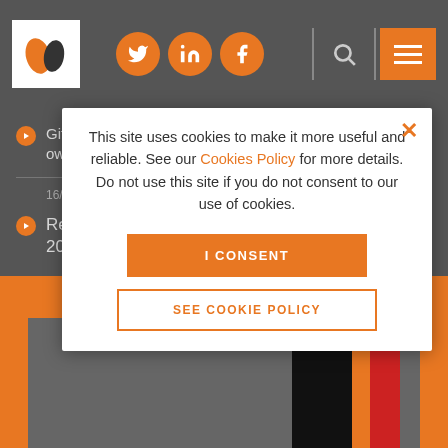Site navigation header with logo, social icons (Twitter, LinkedIn, Facebook), search and menu
Gifts with Reservation of Benefit (GROBS) and Pre-owned Assets Tax (POAT) revisited
16/09/2022 Residential property practice update September 2022
MORE WEBINARS
This site uses cookies to make it more useful and reliable. See our Cookies Policy for more details. Do not use this site if you do not consent to our use of cookies.
I CONSENT
SEE COOKIE POLICY